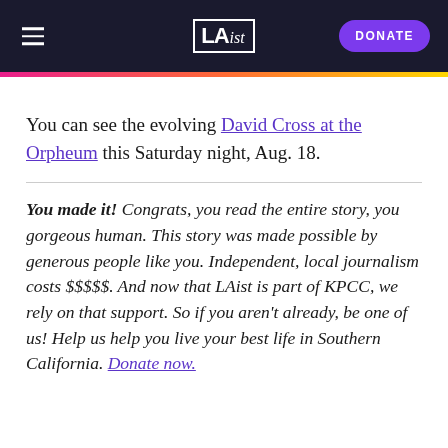LAist — DONATE
You can see the evolving David Cross at the Orpheum this Saturday night, Aug. 18.
You made it! Congrats, you read the entire story, you gorgeous human. This story was made possible by generous people like you. Independent, local journalism costs $$$$$. And now that LAist is part of KPCC, we rely on that support. So if you aren't already, be one of us! Help us help you live your best life in Southern California. Donate now.